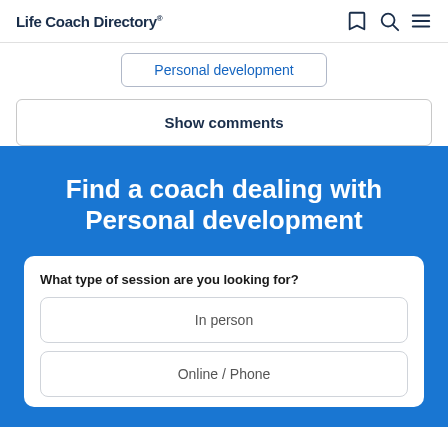Life Coach Directory®
Personal development
Show comments
Find a coach dealing with Personal development
What type of session are you looking for?
In person
Online / Phone